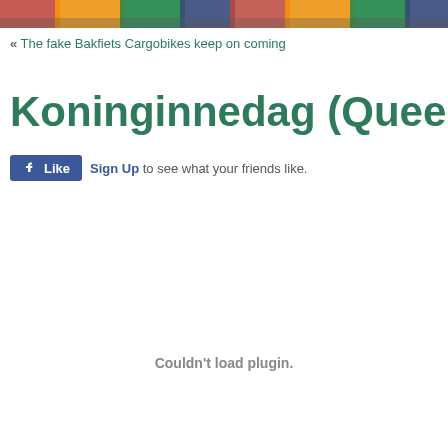[Figure (photo): Partial view of colorful cargo bike wheels/frames at the top of the page]
« The fake Bakfiets Cargobikes keep on coming
Koninginnedag (Queen's Day)
Like  Sign Up to see what your friends like.
Couldn't load plugin.